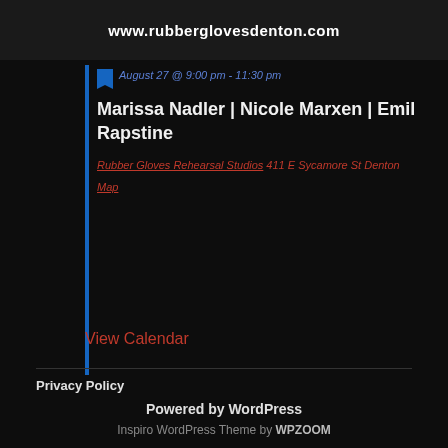[Figure (screenshot): Dark banner with website URL www.rubberglovesdenton.com in bold white text]
August 27 @ 9:00 pm - 11:30 pm
Marissa Nadler | Nicole Marxen | Emil Rapstine
Rubber Gloves Rehearsal Studios 411 E Sycamore St Denton
Map
View Calendar
Privacy Policy
Powered by WordPress
Inspiro WordPress Theme by WPZOOM